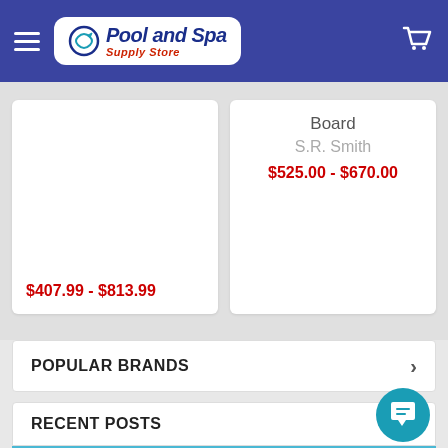Pool and Spa Supply Store
$407.99 - $813.99
Board
S.R. Smith
$525.00 - $670.00
POPULAR BRANDS
RECENT POSTS
[Figure (photo): Pool pump equipment near swimming pool water, blue water background]